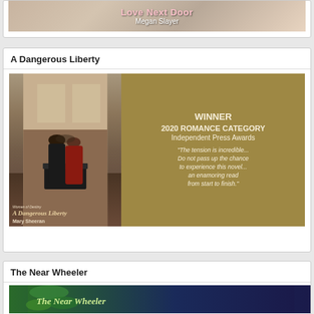[Figure (illustration): Partially visible book advertisement banner for 'Love Next Door' by Megan Slayer at top of page]
A Dangerous Liberty
[Figure (illustration): Book advertisement for 'A Dangerous Liberty' by Mary Sheeran. Golden/tan background. Left side shows book cover with couple embracing. Right side reads: WINNER 2020 ROMANCE CATEGORY Independent Press Awards. Quote: 'The tension is incredible... Do not pass up the chance to experience this novel... an enamoring read from start to finish.']
The Near Wheeler
[Figure (illustration): Partially visible book advertisement banner for 'The Near Wheeler' at bottom of page, showing green and dark blue background with stylized title text]